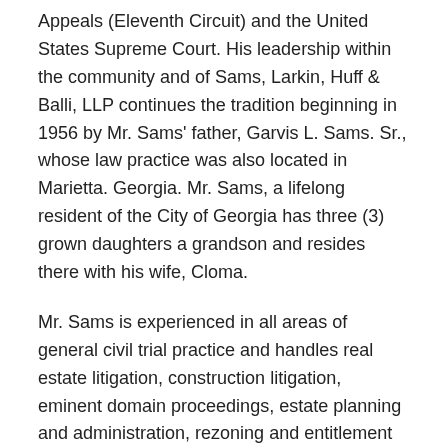Appeals (Eleventh Circuit) and the United States Supreme Court. His leadership within the community and of Sams, Larkin, Huff & Balli, LLP continues the tradition beginning in 1956 by Mr. Sams' father, Garvis L. Sams. Sr., whose law practice was also located in Marietta. Georgia. Mr. Sams, a lifelong resident of the City of Georgia has three (3) grown daughters a grandson and resides there with his wife, Cloma.
Mr. Sams is experienced in all areas of general civil trial practice and handles real estate litigation, construction litigation, eminent domain proceedings, estate planning and administration, rezoning and entitlement matters and land acquisition and development issues. Additionally, Mr. Sams and other attorneys within Sams, Larkin, Huff & Balli, LLP are registered lobbyists in the State of Georgia and